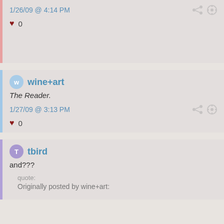1/26/09 @ 4:14 PM
♥ 0
wine+art
The Reader.
1/27/09 @ 3:13 PM
♥ 0
tbird
and???
quote:
Originally posted by wine+art: